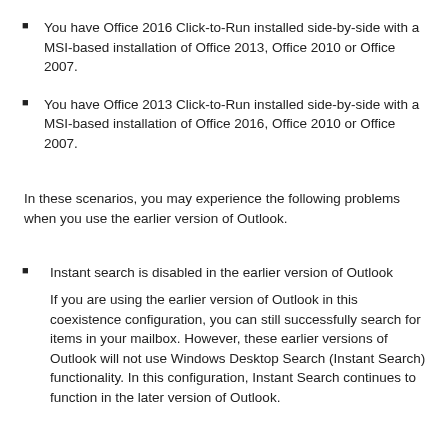You have Office 2016 Click-to-Run installed side-by-side with a MSI-based installation of Office 2013, Office 2010 or Office 2007.
You have Office 2013 Click-to-Run installed side-by-side with a MSI-based installation of Office 2016, Office 2010 or Office 2007.
In these scenarios, you may experience the following problems when you use the earlier version of Outlook.
Instant search is disabled in the earlier version of Outlook
If you are using the earlier version of Outlook in this coexistence configuration, you can still successfully search for items in your mailbox. However, these earlier versions of Outlook will not use Windows Desktop Search (Instant Search) functionality. In this configuration, Instant Search continues to function in the later version of Outlook.